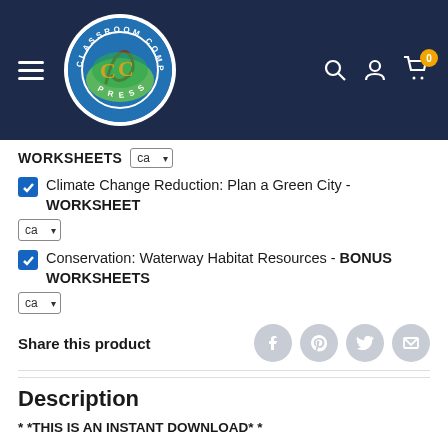[Figure (logo): Classroom Complete Press logo in circular form on dark navy header with hamburger menu, search, account, and cart icons]
WORKSHEETS ca ▾ (dropdown)
✓ Climate Change Reduction: Plan a Green City - WORKSHEET  ca ▾
✓ Conservation: Waterway Habitat Resources - BONUS WORKSHEETS  ca ▾
Share this product
Description
* *THIS IS AN INSTANT DOWNLOAD* *